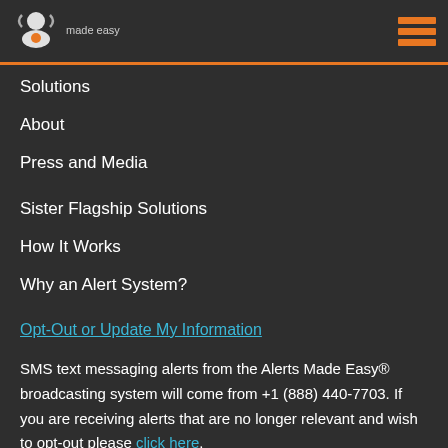[Figure (logo): Alerts Made Easy logo with orange icon and 'made easy' tagline, plus hamburger menu icon in orange]
Solutions
About
Press and Media
Sister Flagship Solutions
How It Works
Why an Alert System?
Opt-Out or Update My Information
SMS text messaging alerts from the Alerts Made Easy® broadcasting system will come from +1 (888) 440-7703. If you are receiving alerts that are no longer relevant and wish to opt-out please click here.